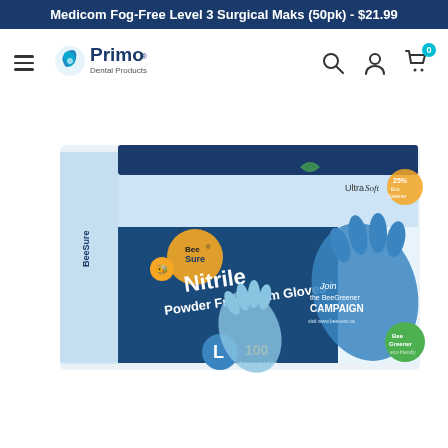Medicom Fog-Free Level 3 Surgical Maks (50pk) - $21.99
[Figure (screenshot): Primo Dental Products website navigation bar with hamburger menu, logo, search icon, account icon, and cart icon showing 0 items]
[Figure (photo): BeeSure Nitrile Powder Free Exam Gloves box, size L, 100 gloves per box, blue and white packaging with bee mascot, UltraSoft and 25% Eco Greener logos, Join the BeeGreener Campaign text]